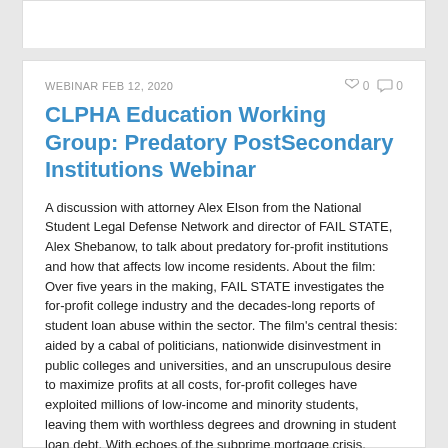WEBINAR FEB 12, 2020
CLPHA Education Working Group: Predatory PostSecondary Institutions Webinar
A discussion with attorney Alex Elson from the National Student Legal Defense Network and director of FAIL STATE, Alex Shebanow, to talk about predatory for-profit institutions and how that affects low income residents. About the film: Over five years in the making, FAIL STATE investigates the for-profit college industry and the decades-long reports of student loan abuse within the sector. The film’s central thesis: aided by a cabal of politicians, nationwide disinvestment in public colleges and universities, and an unscrupulous desire to maximize profits at all costs, for-profit colleges have exploited millions of low-income and minority students, leaving them with worthless degrees and drowning in student loan debt. With echoes of the subprime mortgage crisis, director Alexander Shebanow traces the rise of the for-profit college industry in America...